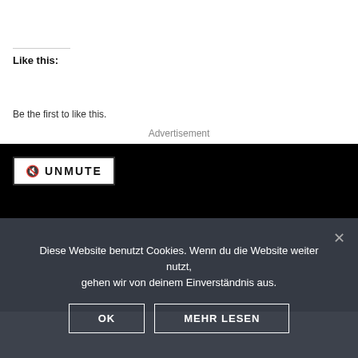Like this:
[Figure (screenshot): Like button widget with a blue star icon and 'Like' text inside a bordered button]
Be the first to like this.
Advertisement
[Figure (screenshot): Video player area, black background with an UNMUTE button in the top left corner]
Diese Website benutzt Cookies. Wenn du die Website weiter nutzt, gehen wir von deinem Einverständnis aus.